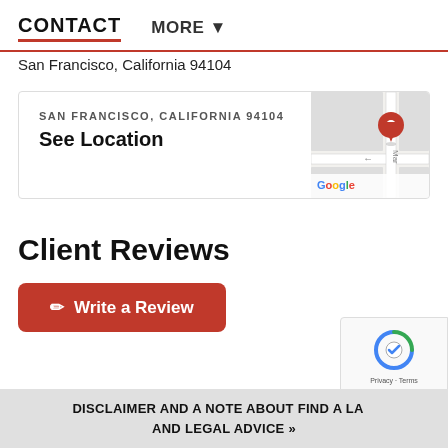CONTACT   MORE ▼
San Francisco, California 94104
[Figure (map): Google Maps thumbnail showing San Francisco location with red pin marker, street labeled 'Mar...']
SAN FRANCISCO, CALIFORNIA 94104
See Location
Client Reviews
✏ Write a Review
DISCLAIMER AND A NOTE ABOUT FIND A LAW AND LEGAL ADVICE »